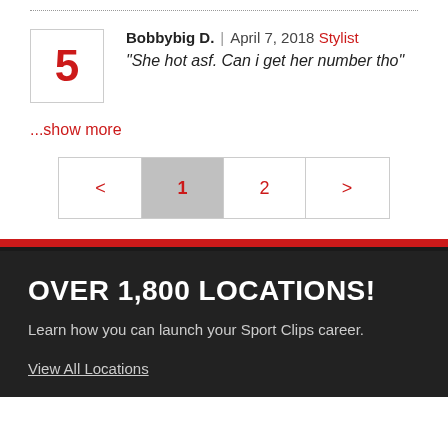Bobbybig D. | April 7, 2018 Stylist — "She hot asf. Can i get her number tho"
...show more
< 1 2 >
OVER 1,800 LOCATIONS!
Learn how you can launch your Sport Clips career.
View All Locations